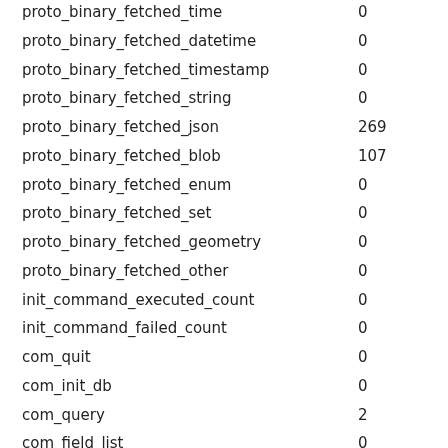| Key | Value |
| --- | --- |
| proto_binary_fetched_time | 0 |
| proto_binary_fetched_datetime | 0 |
| proto_binary_fetched_timestamp | 0 |
| proto_binary_fetched_string | 0 |
| proto_binary_fetched_json | 269 |
| proto_binary_fetched_blob | 107 |
| proto_binary_fetched_enum | 0 |
| proto_binary_fetched_set | 0 |
| proto_binary_fetched_geometry | 0 |
| proto_binary_fetched_other | 0 |
| init_command_executed_count | 0 |
| init_command_failed_count | 0 |
| com_quit | 0 |
| com_init_db | 0 |
| com_query | 2 |
| com_field_list | 0 |
| com_create_db | 0 |
| com_drop_db | 0 |
| com_refresh | 0 |
| com_shutdown | 0 |
| com_statistics | 0 |